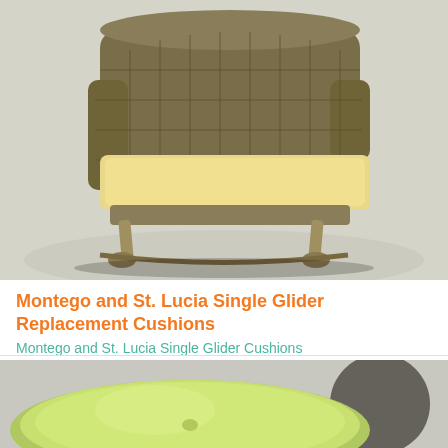[Figure (photo): Photo of a wicker/rattan single glider chair with a cream/yellow cushion on a light background, shown at an angle.]
Montego and St. Lucia Single Glider Replacement Cushions
Montego and St. Lucia Single Glider Cushions
$374.00 $249.00 (Save 33%)
[Figure (photo): Photo of a round lime-green/chartreuse cushion on a light background with a dark pot in the background.]